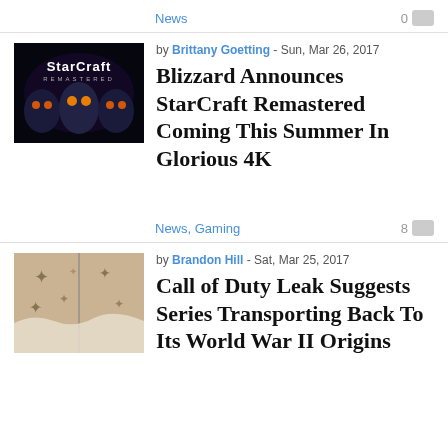News
[Figure (photo): StarCraft Remastered promotional image with alien characters on dark background]
by Brittany Goetting - Sun, Mar 26, 2017
Blizzard Announces StarCraft Remastered Coming This Summer In Glorious 4K
News, Gaming
[Figure (photo): Tan/beige colored fabric or book cover with dark star-like patterns]
by Brandon Hill - Sat, Mar 25, 2017
Call of Duty Leak Suggests Series Transporting Back To Its World War II Origins